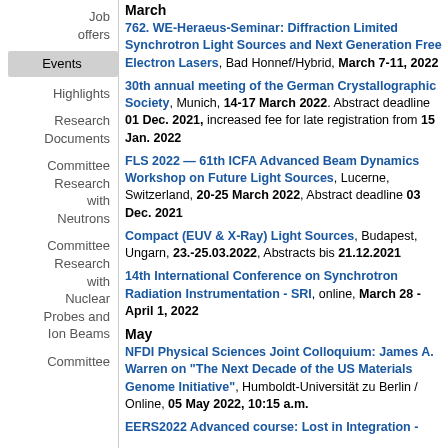Job offers
Events
Highlights
Research Documents
Committee Research with Neutrons
Committee Research with Nuclear Probes and Ion Beams
Committee
March
762. WE-Heraeus-Seminar: Diffraction Limited Synchrotron Light Sources and Next Generation Free Electron Lasers, Bad Honnef/Hybrid, March 7-11, 2022
30th annual meeting of the German Crystallographic Society, Munich, 14-17 March 2022. Abstract deadline 01 Dec. 2021, increased fee for late registration from 15 Jan. 2022
FLS 2022 — 61th ICFA Advanced Beam Dynamics Workshop on Future Light Sources, Lucerne, Switzerland, 20-25 March 2022, Abstract deadline 03 Dec. 2021
Compact (EUV & X-Ray) Light Sources, Budapest, Ungarn, 23.-25.03.2022, Abstracts bis 21.12.2021
14th International Conference on Synchrotron Radiation Instrumentation - SRI, online, March 28 - April 1, 2022
May
NFDI Physical Sciences Joint Colloquium: James A. Warren on "The Next Decade of the US Materials Genome Initiative", Humboldt-Universität zu Berlin / Online, 05 May 2022, 10:15 a.m.
EERS2022 Advanced course: Lost in Integration -